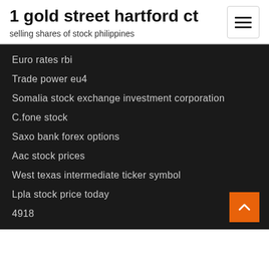1 gold street hartford ct
selling shares of stock philippines
Euro rates rbi
Trade power eu4
Somalia stock exchange investment corporation
C.fone stock
Saxo bank forex options
Aac stock prices
West texas intermediate ticker symbol
Lpla stock price today
4918